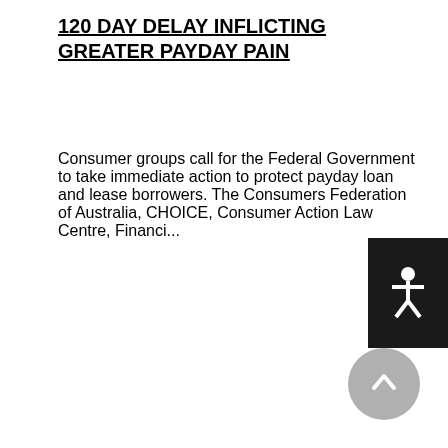120 DAY DELAY INFLICTING GREATER PAYDAY PAIN
Consumer groups call for the Federal Government to take immediate action to protect payday loan and lease borrowers. The Consumers Federation of Australia, CHOICE, Consumer Action Law Centre, Financi...
March 27, 2017